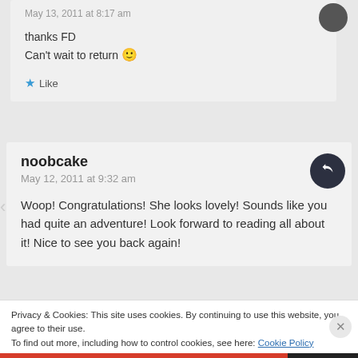May 13, 2011 at 8:17 am
thanks FD
Can't wait to return 🙂
Like
noobcake
May 12, 2011 at 9:32 am
Woop! Congratulations! She looks lovely! Sounds like you had quite an adventure! Look forward to reading all about it! Nice to see you back again!
Privacy & Cookies: This site uses cookies. By continuing to use this website, you agree to their use.
To find out more, including how to control cookies, see here: Cookie Policy
Close and accept